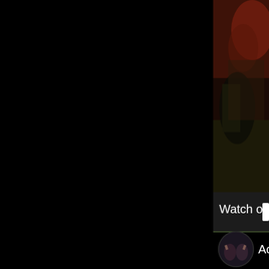[Figure (screenshot): Screenshot of a video platform interface. The left portion of the screen is mostly black. In the upper right, there is a partially visible video thumbnail showing a dark, moody scene with reddish-brown tones. Below the thumbnail is a dark bar with the text 'Watch on' followed by a partially cut-off logo/icon. Below that is a circular profile avatar showing two people, next to partially visible text beginning with 'Acce'.]